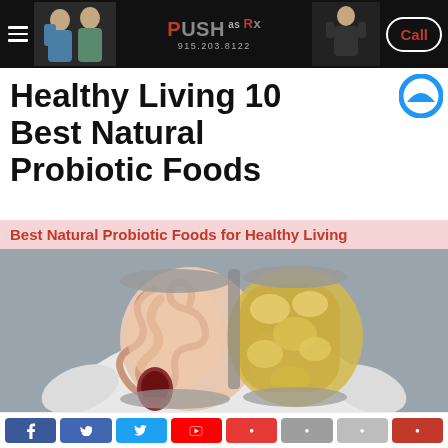PUSH as Rx — 915.203.8122 — Call
Healthy Living 10 Best Natural Probiotic Foods
Best Natural Probiotic Foods for Healthy Living
[Figure (photo): Person holding a 3D anatomical model of the human gut/intestinal system showing healthy intestines on one side and an unhealthy/fatty gut on the other side, against a gray background.]
[Figure (infographic): Row of social media share buttons at bottom of page (Facebook, Twitter, YouTube, and other social icons)]